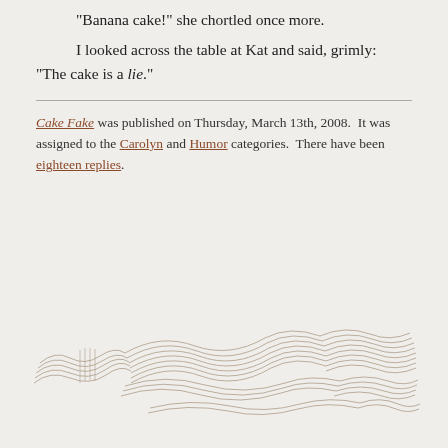“Banana cake!” she chortled once more.

I looked across the table at Kat and said, grimly: “The cake is a lie.”
Cake Fake was published on Thursday, March 13th, 2008. It was assigned to the Carolyn and Humor categories. There have been eighteen replies.
[Figure (illustration): Decorative pen-and-ink drawing of flowing waves or hills made of multiple thin undulating lines, rendered in a light sepia/brown tone.]